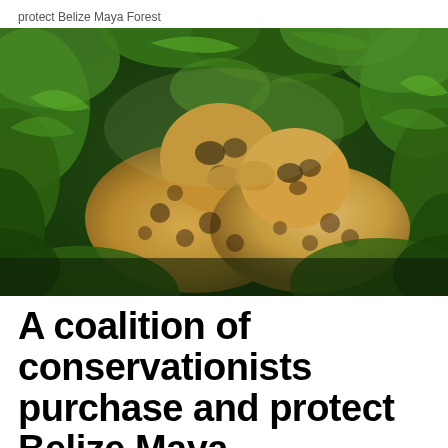protect Belize Maya Forest
[Figure (photo): Two jaguars nuzzling each other among lush green tropical forest vegetation, photographed in natural habitat.]
A coalition of conservationists purchase and protect Belize Maya